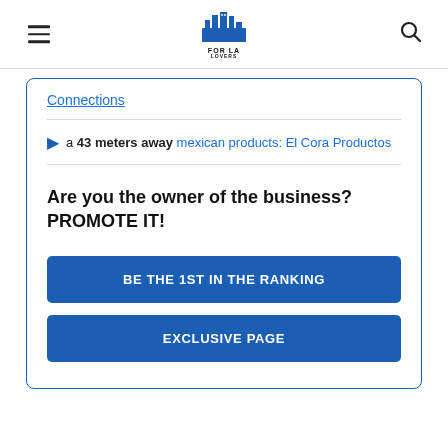FOR LA LOVERS
Connections
a 43 meters away mexican products: El Cora Productos
Are you the owner of the business? PROMOTE IT!
BE THE 1ST IN THE RANKING
EXCLUSIVE PAGE